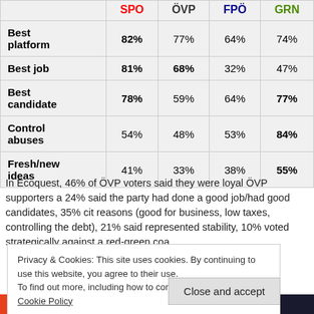|  | SPO | ÖVP | FPÖ | GRN |
| --- | --- | --- | --- | --- |
| Best platform | 82% | 77% | 64% | 74% |
| Best job | 81% | 68% | 32% | 47% |
| Best candidate | 78% | 59% | 64% | 77% |
| Control abuses | 54% | 48% | 53% | 84% |
| Fresh/new ideas | 41% | 33% | 38% | 55% |
In Ecoquest, 46% of ÖVP voters said they were loyal ÖVP supporters a 24% said the party had done a good job/had good candidates, 35% cit reasons (good for business, low taxes, controlling the debt), 21% said represented stability, 10% voted strategically against a red-green coa
Privacy & Cookies: This site uses cookies. By continuing to use this website, you agree to their use. To find out more, including how to control cookies, see here: Cookie Policy
Close and accept